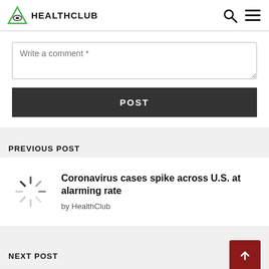HEALTHCLUB
Write a comment *
POST
PREVIOUS POST
Coronavirus cases spike across U.S. at alarming rate
by HealthClub
NEXT POST